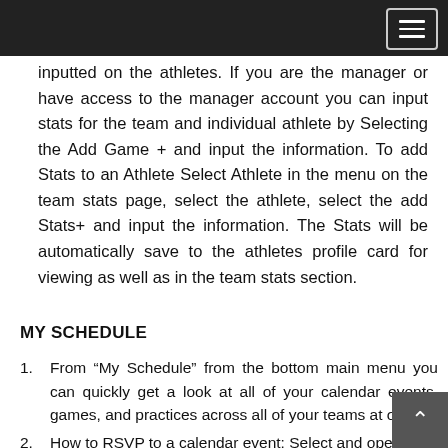inputted on the athletes. If you are the manager or have access to the manager account you can input stats for the team and individual athlete by Selecting the Add Game + and input the information. To add Stats to an Athlete Select Athlete in the menu on the team stats page, select the athlete, select the add Stats+ and input the information. The Stats will be automatically save to the athletes profile card for viewing as well as in the team stats section.
MY SCHEDULE
From “My Schedule” from the bottom main menu you can quickly get a look at all of your calendar events, games, and practices across all of your teams at once.
How to RSVP to a calendar event: Select and open the